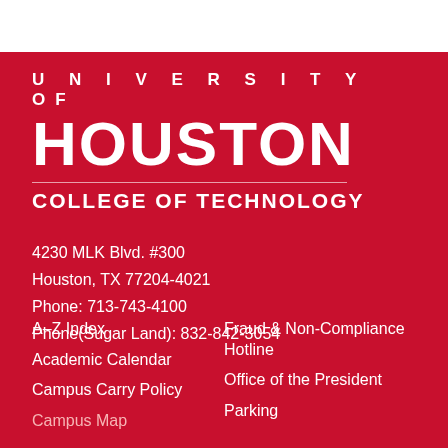UNIVERSITY of HOUSTON
COLLEGE of TECHNOLOGY
4230 MLK Blvd. #300
Houston, TX 77204-4021
Phone: 713-743-4100
Phone(Sugar Land): 832-842-3054
A–Z Index
Academic Calendar
Campus Carry Policy
Fraud & Non-Compliance Hotline
Office of the President
Parking